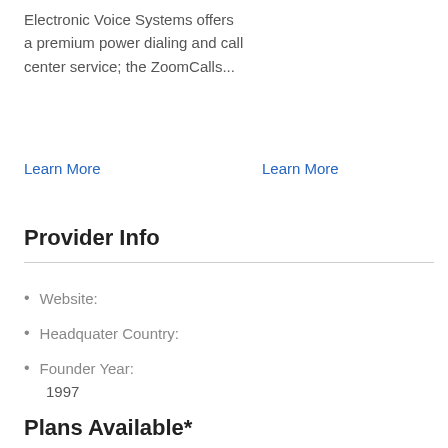Electronic Voice Systems offers a premium power dialing and call center service; the ZoomCalls...
Learn More
Learn More
Provider Info
Website:
Headquater Country:
Founder Year:
1997
Plans Available*